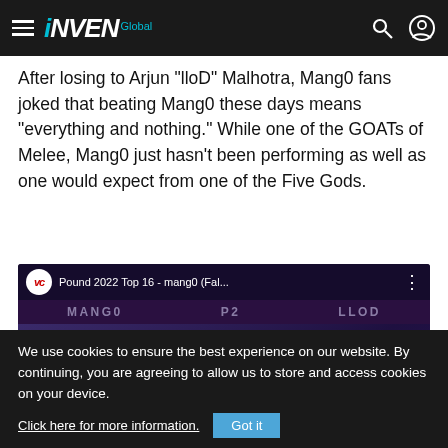INVEN Global
After losing to Arjun "lloD" Malhotra, Mang0 fans joked that beating Mang0 these days means "everything and nothing." While one of the GOATs of Melee, Mang0 just hasn't been performing as well as one would expect from one of the Five Gods.
[Figure (screenshot): YouTube video thumbnail for 'Pound 2022 Top 16 - mang0 (Fal...' showing video game characters Falco and Peach from Super Smash Bros Melee with a scoreboard overlay showing MANG0 P2 LLOD]
We use cookies to ensure the best experience on our website. By continuing, you are agreeing to allow us to store and access cookies on your device.
Click here for more information.
Got it